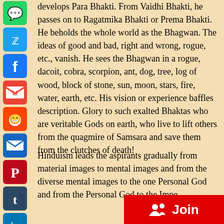develops Para Bhakti. From Vaidhi Bhakti, he passes on to Ragatmika Bhakti or Prema Bhakti. He beholds the whole world as the Bhagwan. The ideas of good and bad, right and wrong, rogue, etc., vanish. He sees the Bhagwan in a rogue, dacoit, cobra, scorpion, ant, dog, tree, log of wood, block of stone, sun, moon, stars, fire, water, earth, etc. His vision or experience baffles description. Glory to such exalted Bhaktas who are veritable Gods on earth, who live to lift others from the quagmire of Samsara and save them from the clutches of death!
Hinduism leads the aspirants gradually from material images to mental images and from the diverse mental images to the one Personal God and from the Personal God to the Impe...
[Figure (infographic): Column of social media share buttons: WhatsApp (green), Twitter (blue), Facebook (dark blue), Gmail (red/white), Reddit (orange), Email (blue), Pinterest (dark red), Tumblr (dark navy), LinkedIn (blue), Share/Plus (blue)]
[Figure (infographic): Red Join button with people/group icon in bottom right corner]